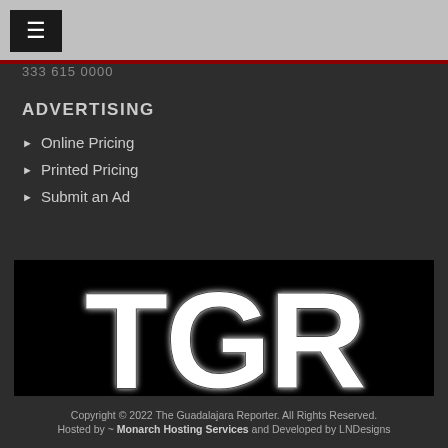☰
333 615 0000
ADVERTISING
Online Pricing
Printed Pricing
Submit an Ad
[Figure (logo): TGR logo — large white bold letters 'TGR' on black background]
Copyright © 2022 The Guadalajara Reporter. All Rights Reserved. Hosted by ~ Monarch Hosting Services and Developed by LNDesigns